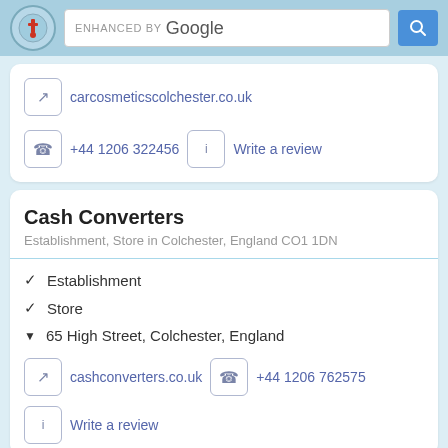ENHANCED BY Google
carcosmeticscolchester.co.uk
+44 1206 322456   Write a review
Cash Converters
Establishment, Store in Colchester, England CO1 1DN
✓ Establishment
✓ Store
▼ 65 High Street, Colchester, England
cashconverters.co.uk   +44 1206 762575
Write a review